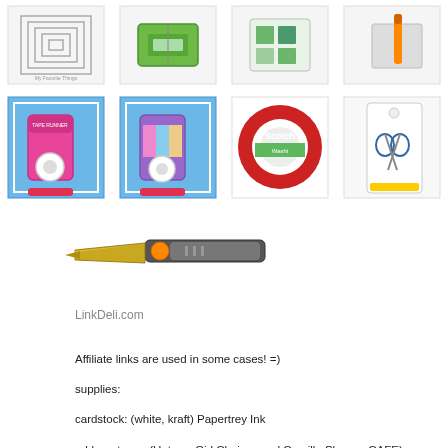[Figure (photo): Row 1: Four product images - die cut squares set, green paper trimmer/slicer, storage organizer with supplies, orange marker with gray mat]
[Figure (photo): Row 2: Four product images - pink tape runner on blue card, purple tape runner on blue card, Scotch washi/mounting tape large roll, scissors in packaging]
[Figure (photo): Single image: Fiskars style craft scissors/snips with gold blade and orange accent]
LinkDeli.com
Affiliate links are used in some cases! =)
supplies:
cardstock: (white, kraft) Papertrey Ink
rubber stamp: (Uptown Girl Clarissa and Camille Share a CAFE) Stamping Bella
clear stamp: (Perk Up) My Favorite Things